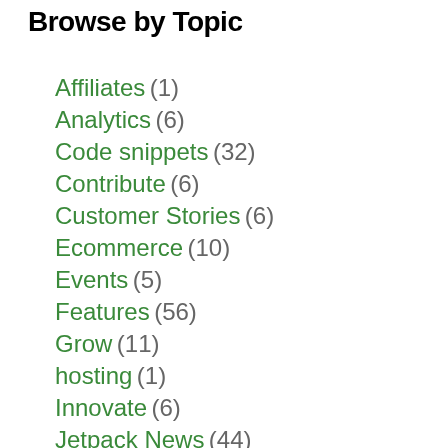Browse by Topic
Affiliates (1)
Analytics (6)
Code snippets (32)
Contribute (6)
Customer Stories (6)
Ecommerce (10)
Events (5)
Features (56)
Grow (11)
hosting (1)
Innovate (6)
Jetpack News (44)
Learn (55)
Meet Jetpack (14)
Performance (22)